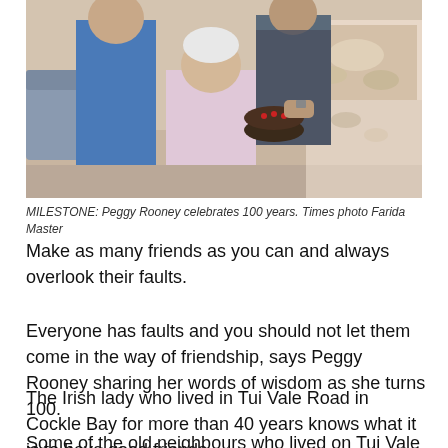[Figure (photo): Group photo of Peggy Rooney celebrating her 100th birthday with others, holding a decorated cake, seated in a room with food on a table in background.]
MILESTONE: Peggy Rooney celebrates 100 years. Times photo Farida Master
Make as many friends as you can and always overlook their faults.
Everyone has faults and you should not let them come in the way of friendship, says Peggy Rooney sharing her words of wisdom as she turns 100.
The Irish lady who lived in Tui Vale Road in Cockle Bay for more than 40 years knows what it is to have good friends.
Some of the old neighbours who lived on Tui Vale got